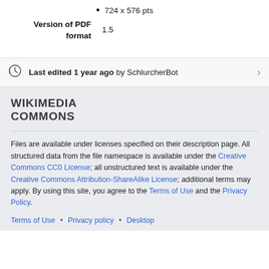724 x 576 pts
Version of PDF format
1.5
Last edited 1 year ago by SchlurcherBot
WIKIMEDIA COMMONS
Files are available under licenses specified on their description page. All structured data from the file namespace is available under the Creative Commons CC0 License; all unstructured text is available under the Creative Commons Attribution-ShareAlike License; additional terms may apply. By using this site, you agree to the Terms of Use and the Privacy Policy.
Terms of Use • Privacy policy • Desktop